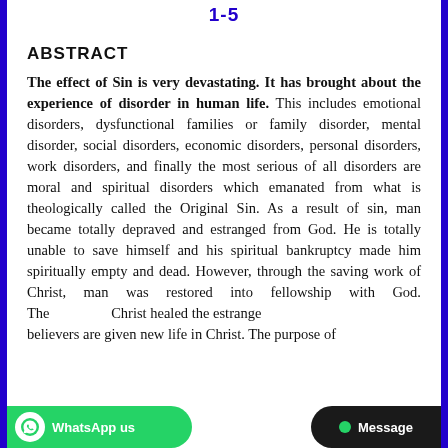1-5
ABSTRACT
The effect of Sin is very devastating. It has brought about the experience of disorder in human life. This includes emotional disorders, dysfunctional families or family disorder, mental disorder, social disorders, economic disorders, personal disorders, work disorders, and finally the most serious of all disorders are moral and spiritual disorders which emanated from what is theologically called the Original Sin. As a result of sin, man became totally depraved and estranged from God. He is totally unable to save himself and his spiritual bankruptcy made him spiritually empty and dead. However, through the saving work of Christ, man was restored into fellowship with God. The … Christ healed the estrange … believers are given new life in Christ. The purpose of